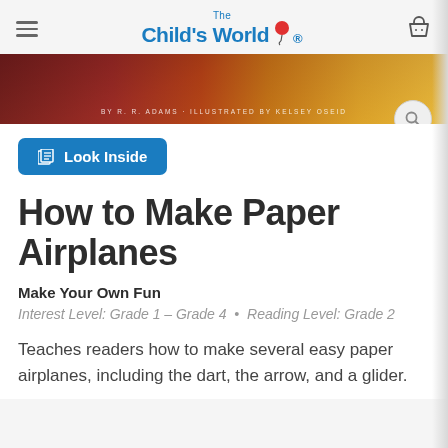[Figure (screenshot): The Child's World website header with hamburger menu, logo with red balloon, and basket icon]
[Figure (photo): Book cover banner image for 'How to Make Paper Airplanes' with orange/red background and author/illustrator credit text]
Look Inside
How to Make Paper Airplanes
Make Your Own Fun
Interest Level: Grade 1 – Grade 4  •  Reading Level: Grade 2
Teaches readers how to make several easy paper airplanes, including the dart, the arrow, and a glider.